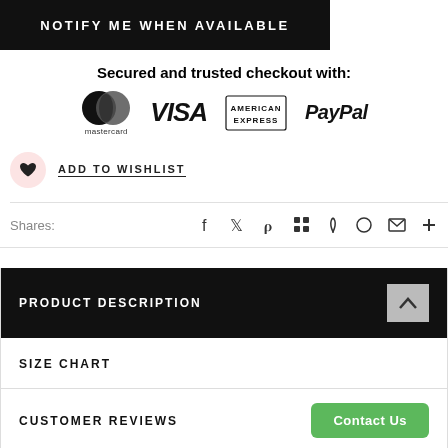NOTIFY ME WHEN AVAILABLE
Secured and trusted checkout with:
[Figure (logo): Payment method logos: Mastercard, VISA, American Express, PayPal]
ADD TO WISHLIST
Shares:
[Figure (infographic): Social share icons: Facebook, Twitter, Pinterest, Grid/app, Feather, Circle, Mail, Plus]
PRODUCT DESCRIPTION
SIZE CHART
CUSTOMER REVIEWS